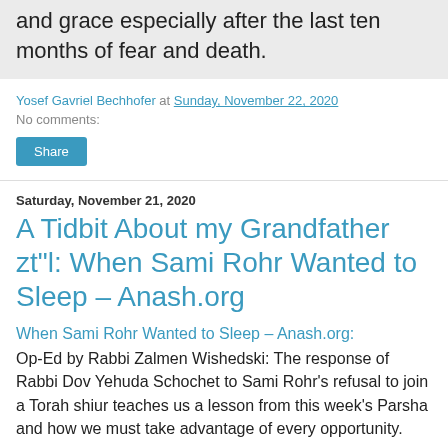and grace especially after the last ten months of fear and death.
Yosef Gavriel Bechhofer at Sunday, November 22, 2020
No comments:
Share
Saturday, November 21, 2020
A Tidbit About my Grandfather zt"l: When Sami Rohr Wanted to Sleep – Anash.org
When Sami Rohr Wanted to Sleep – Anash.org:
Op-Ed by Rabbi Zalmen Wishedski: The response of Rabbi Dov Yehuda Schochet to Sami Rohr's refusal to join a Torah shiur teaches us a lesson from this week's Parsha and how we must take advantage of every opportunity.